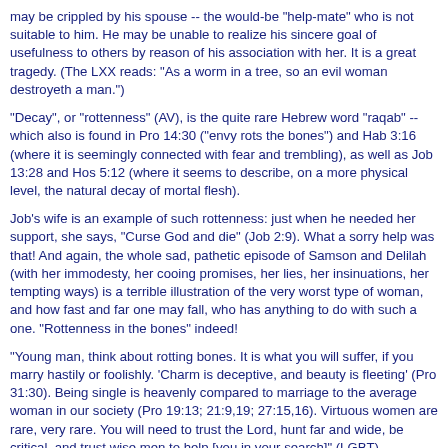may be crippled by his spouse -- the would-be "help-mate" who is not suitable to him. He may be unable to realize his sincere goal of usefulness to others by reason of his association with her. It is a great tragedy. (The LXX reads: "As a worm in a tree, so an evil woman destroyeth a man.")
"Decay", or "rottenness" (AV), is the quite rare Hebrew word "raqab" -- which also is found in Pro 14:30 ("envy rots the bones") and Hab 3:16 (where it is seemingly connected with fear and trembling), as well as Job 13:28 and Hos 5:12 (where it seems to describe, on a more physical level, the natural decay of mortal flesh).
Job's wife is an example of such rottenness: just when he needed her support, she says, "Curse God and die" (Job 2:9). What a sorry help was that! And again, the whole sad, pathetic episode of Samson and Delilah (with her immodesty, her cooing promises, her lies, her insinuations, her tempting ways) is a terrible illustration of the very worst type of woman, and how fast and far one may fall, who has anything to do with such a one. "Rottenness in the bones" indeed!
"Young man, think about rotting bones. It is what you will suffer, if you marry hastily or foolishly. 'Charm is deceptive, and beauty is fleeting' (Pro 31:30). Being single is heavenly compared to marriage to the average woman in our society (Pro 19:13; 21:9,19; 27:15,16). Virtuous women are rare, very rare. You will need to trust the Lord, hunt far and wide, be critical, and trust wise men to help [you in your search]" (LGBT).